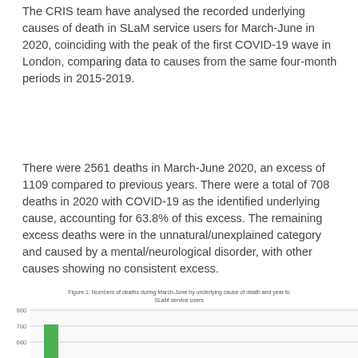The CRIS team have analysed the recorded underlying causes of death in SLaM service users for March-June in 2020, coinciding with the peak of the first COVID-19 wave in London, comparing data to causes from the same four-month periods in 2015-2019.
There were 2561 deaths in March-June 2020, an excess of 1109 compared to previous years. There were a total of 708 deaths in 2020 with COVID-19 as the identified underlying cause, accounting for 63.8% of this excess. The remaining excess deaths were in the unnatural/unexplained category and caused by a mental/neurological disorder, with other causes showing no consistent excess.
[Figure (bar-chart): Partial bar chart visible at bottom of page showing y-axis values 600, 700, 800 with a green bar visible reaching approximately 710]